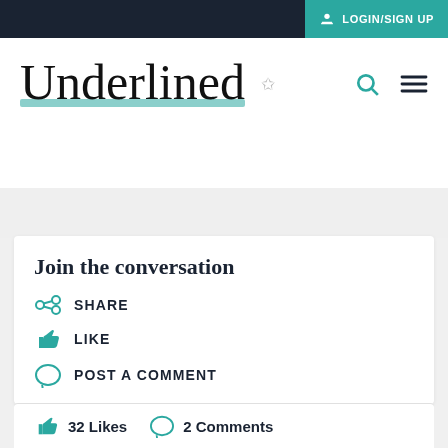LOGIN/SIGN UP
[Figure (logo): Underlined website logo in cursive script with teal underline]
Join the conversation
SHARE
LIKE
POST A COMMENT
32 Likes   2 Comments